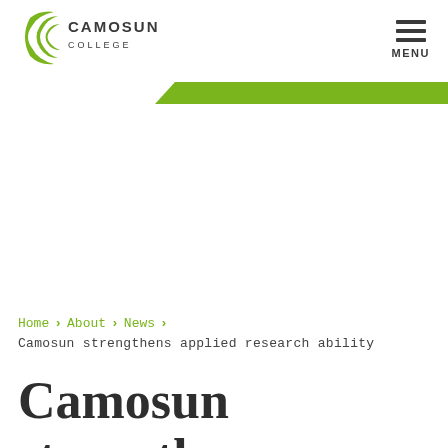[Figure (logo): Camosun College logo with green crescent C and text CAMOSUN COLLEGE]
[Figure (other): Hamburger menu icon with three horizontal lines and MENU text below]
[Figure (other): Green diagonal parallelogram banner strip]
Home > About > News > Camosun strengthens applied research ability
Camosun strengthens applied